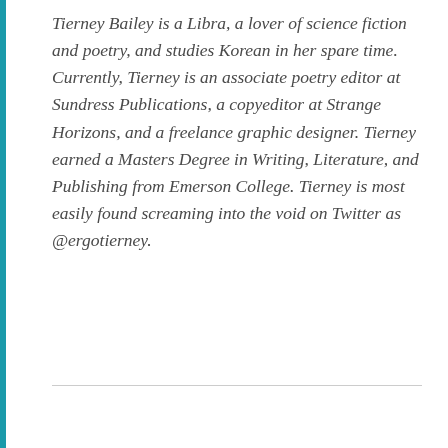Tierney Bailey is a Libra, a lover of science fiction and poetry, and studies Korean in her spare time. Currently, Tierney is an associate poetry editor at Sundress Publications, a copyeditor at Strange Horizons, and a freelance graphic designer. Tierney earned a Masters Degree in Writing, Literature, and Publishing from Emerson College. Tierney is most easily found screaming into the void on Twitter as @ergotierney.